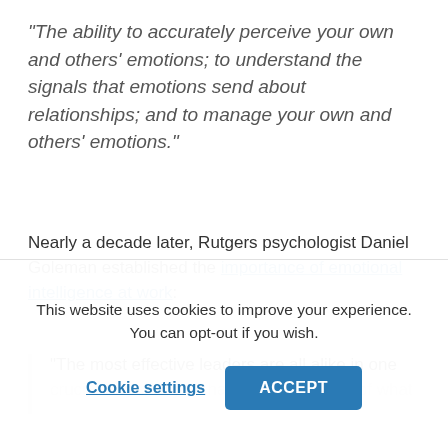“The ability to accurately perceive your own and others’ emotions; to understand the signals that emotions send about relationships; and to manage your own and others’ emotions.”
Nearly a decade later, Rutgers psychologist Daniel Goleman established the importance of emotional intelligence at work:
“The most effective leaders are all alike in one crucial way: They all have a high degree of what…
This website uses cookies to improve your experience. You can opt-out if you wish.